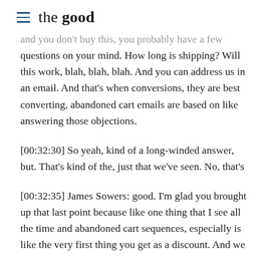the good
and you don't buy this, you probably have a few questions on your mind. How long is shipping? Will this work, blah, blah, blah. And you can address us in an email. And that's when conversions, they are best converting, abandoned cart emails are based on like answering those objections.
[00:32:30] So yeah, kind of a long-winded answer, but. That's kind of the, just that we've seen. No, that's
[00:32:35] James Sowers: good. I'm glad you brought up that last point because like one thing that I see all the time and abandoned cart sequences, especially is like the very first thing you get as a discount. And we